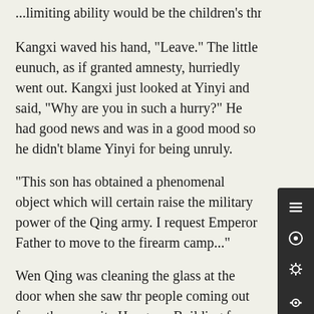...limiting ability would be the children's through their father.
Kangxi waved his hand, "Leave." The little eunuch, as if granted amnesty, hurriedly went out. Kangxi just looked at Yinyi and said, "Why are you in such a hurry?" He had good news and was in a good mood so he didn't blame Yinyi for being unruly.
"This son has obtained a phenomenal object which will certainly raise the military power of the Qing army. I request Emperor Father to move to the firearm camp..."
Wen Qing was cleaning the glass at the door when she saw three people coming out from the opposite Hongyun Building from a distance. She shouted at them happily, "Eight. Nine. Ten! Eight. Nine. Ten! There are new products in the store. Would you like to come in and have a look?"
Yintang cautioned Yin with his head inclined to Wen Qing's